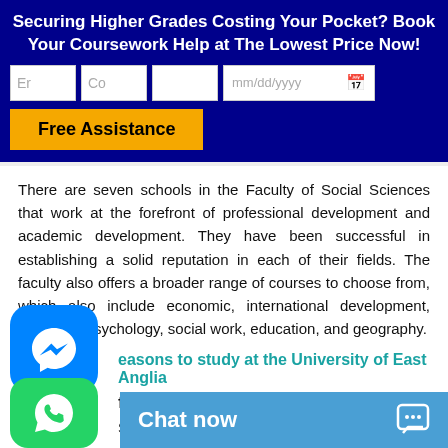Securing Higher Grades Costing Your Pocket? Book Your Coursework Help at The Lowest Price Now!
[Figure (screenshot): Web form with input fields for email, country, a blank field, and a date picker (mm/dd/yyyy) with calendar icon, and a yellow 'Free Assistance' button]
There are seven schools in the Faculty of Social Sciences that work at the forefront of professional development and academic development. They have been successful in establishing a solid reputation in each of their fields. The faculty also offers a broader range of courses to choose from, which also include economic, international development, business, psychology, social work, education, and geography.
easons to study at the University of East Anglia
flight Teaching
Students at UEA aren't ju...